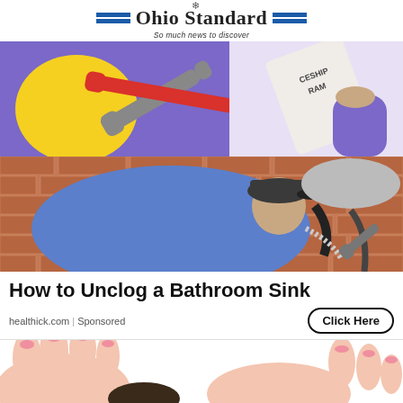Ohio Standard — So much news to discover
[Figure (illustration): Illustration showing plumbing tools (wrenches on yellow circle) on purple background, and a hand holding a document labeled 'CESHIP RAM']
[Figure (illustration): Illustration of a plumber in blue shirt and cap working under a bathroom sink on a brick wall background]
How to Unclog a Bathroom Sink
healthick.com | Sponsored
[Figure (illustration): Illustration of hands fixing or operating something, partial view at bottom of page]